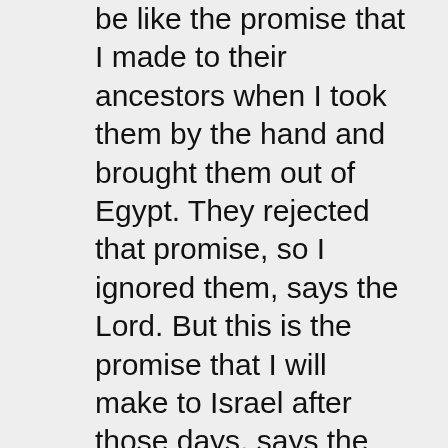be like the promise that I made to their ancestors when I took them by the hand and brought them out of Egypt. They rejected that promise, so I ignored them, says the Lord. But this is the promise that I will make to Israel after those days, says the Lord: I will put my teachings inside them, and I will write those teachings on their hearts. I will be their God, and they will be my people. No longer will each person teach his neighbors or his relatives by saying, ‘Know the Lord.’ All of them from the least important to the most important will all know me because I will forgive their wickedness and I will no longer hold their sins against them.” Hebrews 8:8-11 (GOD’S WORD® Translation)